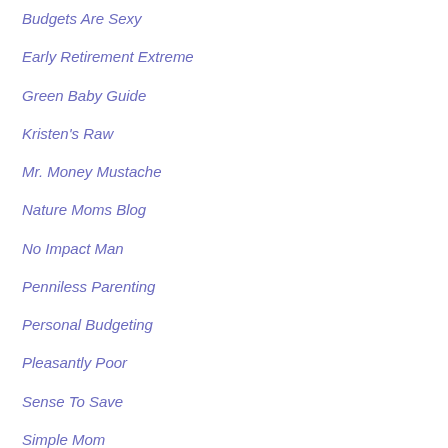Budgets Are Sexy
Early Retirement Extreme
Green Baby Guide
Kristen's Raw
Mr. Money Mustache
Nature Moms Blog
No Impact Man
Penniless Parenting
Personal Budgeting
Pleasantly Poor
Sense To Save
Simple Mom
Stop Buying Crap
Surveybag
The Good Human
The Thrifty Chicks